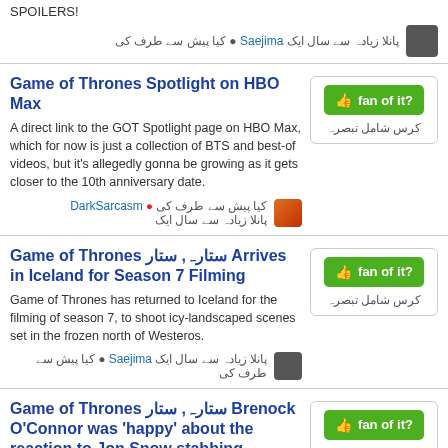SPOILERS!
پانلا زیادہ سے سال ایک Saejima ● کیا پیش سے طرف کی
Game of Thrones Spotlight on HBO Max
A direct link to the GOT Spotlight page on HBO Max, which for now is just a collection of BTS and best-of videos, but it's allegedly gonna be growing as it gets closer to the 10th anniversary date.
کیا پیش سے طرف کی ● DarkSarcasm پانلا زیادہ سے سال ایک
Game of Thrones ستارہ, ستار Arrives in Iceland for Season 7 Filming
Game of Thrones has returned to Iceland for the filming of season 7, to shoot icy-landscaped scenes set in the frozen north of Westeros.
پانلا زیادہ سے سال ایک Saejima ● کیا پیش سے طرف کی
Game of Thrones ستارہ, ستار Brenock O'Connor was 'happy' about the reaction to Jon Snow stabbing
HE BECAME the most hated character on Game of Thrones in the space of one scene but actor Brenock O'Connor has admitted that he was actually pretty pleased with the strong reaction he got after his character Olly